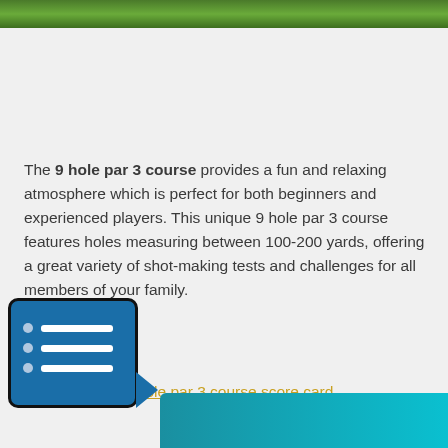[Figure (photo): Green golf course grass banner at the top of the page]
The 9 hole par 3 course provides a fun and relaxing atmosphere which is perfect for both beginners and experienced players. This unique 9 hole par 3 course features holes measuring between 100-200 yards, offering a great variety of shot-making tests and challenges for all members of your family.
Download our 9 hole par 3 course score card
[Figure (logo): Blue rounded square icon with a bullet list and a rightward arrow pointer, representing a menu or list interface element]
[Figure (other): Teal/cyan gradient bar at the bottom right of the page]